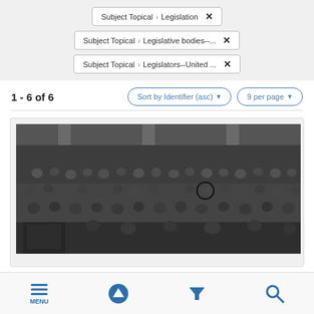Subject Topical > Legislation ×
Subject Topical > Legislative bodies--... ×
Subject Topical > Legislators--United ... ×
1 - 6 of 6
Sort by Identifier (asc) ▾
9 per page ▾
[Figure (photo): Black and white photograph of a large legislative assembly hall filled with many seated legislators/representatives, viewed from an elevated angle. One person is circled in the crowd.]
MENU  [up]  [filter]  [search]